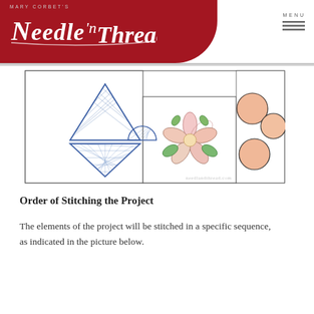Mary Corbet's Needle 'n Thread — MENU
[Figure (illustration): Three-panel illustration of embroidery design elements: left panel shows geometric shapes (triangle outline and hourglass/bowtie filled with blue cross-hatching, and a small blue semicircle shape), center panel shows a pink flower with green leaves, right panel shows three peach/orange circles arranged in a triangle pattern. The illustration is framed with thin black border lines. Watermark 'needlandthread.com' visible at bottom right.]
Order of Stitching the Project
The elements of the project will be stitched in a specific sequence, as indicated in the picture below.